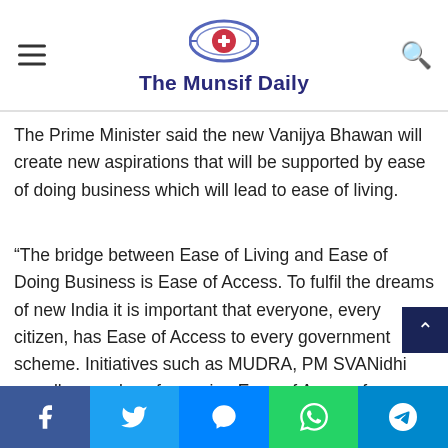The Munsif Daily
The Prime Minister said the new Vanijya Bhawan will create new aspirations that will be supported by ease of doing business which will lead to ease of living.
“The bridge between Ease of Living and Ease of Doing Business is Ease of Access. To fulfil the dreams of new India it is important that everyone, every citizen, has Ease of Access to every government scheme. Initiatives such as MUDRA, PM SVANidhi are all examples of ensuring Ease of Access for beneficiaries,” he said.
He said in the last eigth years India has achieved maj...